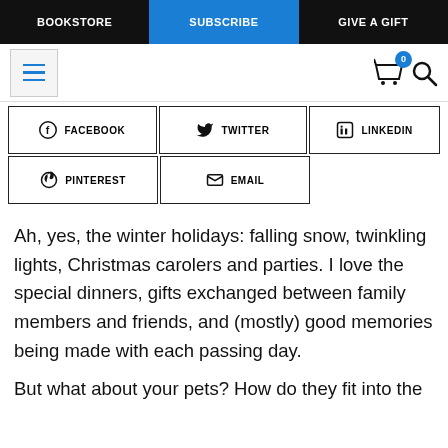BOOKSTORE | SUBSCRIBE | GIVE A GIFT
[Figure (screenshot): Website navigation bar with hamburger menu, cart icon with badge '0', and search icon]
[Figure (infographic): Social share buttons: Facebook, Twitter, LinkedIn, Pinterest, Email]
Ah, yes, the winter holidays: falling snow, twinkling lights, Christmas carolers and parties. I love the special dinners, gifts exchanged between family members and friends, and (mostly) good memories being made with each passing day.
But what about your pets? How do they fit into the